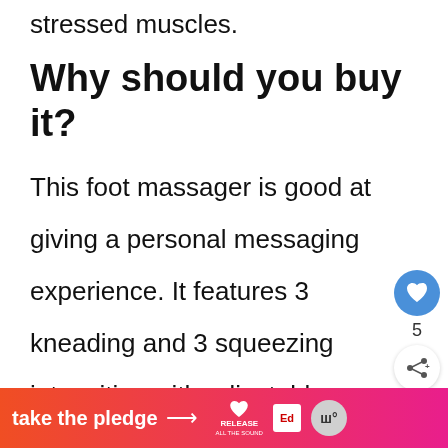stressed muscles.
Why should you buy it?
This foot massager is good at giving a personal messaging experience. It features 3 kneading and 3 squeezing intensities with adjustable settings. You can get comfortable yet personalizing massage therapy at
[Figure (other): Blue circular heart/like button with white heart icon, count '5' below it, and a white circular share button below that.]
[Figure (other): Bottom ad banner with gradient orange-to-pink background. Text reads 'take the pledge' with arrow, followed by Release brand heart logo and Ed icon, and a gray circle logo on the right.]